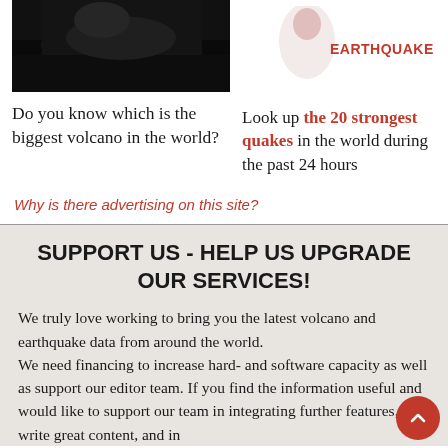[Figure (photo): Dark image of a volcano]
[Figure (illustration): Earthquake icon with label EARTHQUAKE in red bold text]
Do you know which is the biggest volcano in the world?
Look up the 20 strongest quakes in the world during the past 24 hours
Why is there advertising on this site?
SUPPORT US - HELP US UPGRADE OUR SERVICES!
We truly love working to bring you the latest volcano and earthquake data from around the world.
We need financing to increase hard- and software capacity as well as support our editor team. If you find the information useful and would like to support our team in integrating further features, write great content, and in